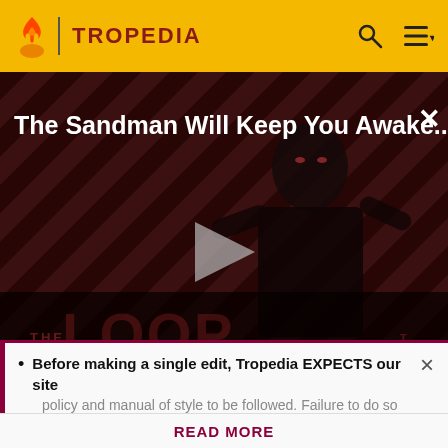TROPEDIA
[Figure (screenshot): Video thumbnail for 'The Sandman Will Keep You Awake...' showing a dark figure in black against a striped red and black background, with a play button in the center and 'THE LOOP' text at the bottom. NaN:NaN timestamp shown.]
Silly Music Producer.
Before making a single edit, Tropedia EXPECTS our site policy and manual of style to be followed. Failure to do so may
READ MORE